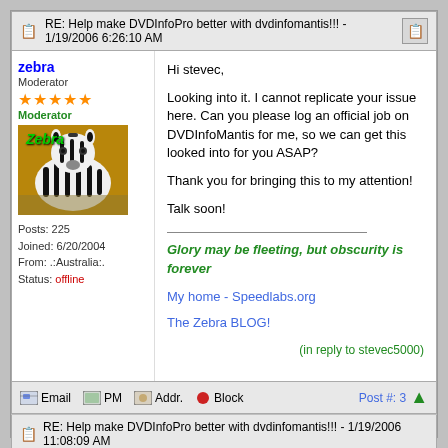RE: Help make DVDInfoPro better with dvdinfomantis!!! - 1/19/2006 6:26:10 AM
zebra
Moderator
★★★★★
Moderator
Posts: 225
Joined: 6/20/2004
From: .:Australia:.
Status: offline
Hi stevec,

Looking into it. I cannot replicate your issue here. Can you please log an official job on DVDInfoMantis for me, so we can get this looked into for you ASAP?

Thank you for bringing this to my attention!

Talk soon!

Glory may be fleeting, but obscurity is forever

My home - Speedlabs.org

The Zebra BLOG!

(in reply to stevec5000)
Email  PM  Addr.  Block    Post #: 3
RE: Help make DVDInfoPro better with dvdinfomantis!!! - 1/19/2006 11:08:09 AM